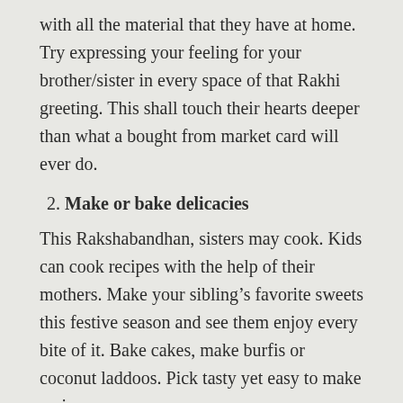with all the material that they have at home. Try expressing your feeling for your brother/sister in every space of that Rakhi greeting. This shall touch their hearts deeper than what a bought from market card will ever do.
2. Make or bake delicacies
This Rakshabandhan, sisters may cook. Kids can cook recipes with the help of their mothers. Make your sibling’s favorite sweets this festive season and see them enjoy every bite of it. Bake cakes, make burfis or coconut laddoos. Pick tasty yet easy to make recipes.
3. Make handmade gifts
Handmade gifts always remain close to the heart